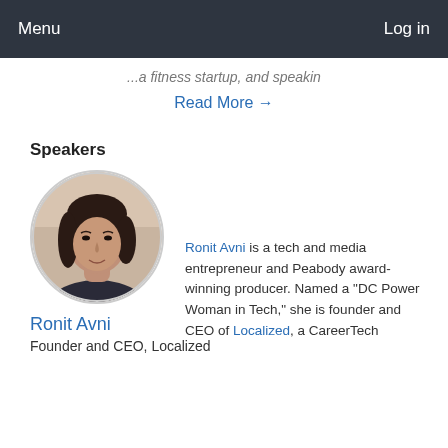Menu    Log in
...a fitness startup, and special...
Read More →
Speakers
[Figure (photo): Circular headshot photo of Ronit Avni, a woman with dark hair, smiling]
Ronit Avni
Founder and CEO, Localized
Ronit Avni is a tech and media entrepreneur and Peabody award-winning producer. Named a "DC Power Woman in Tech," she is founder and CEO of Localized, a CareerTech